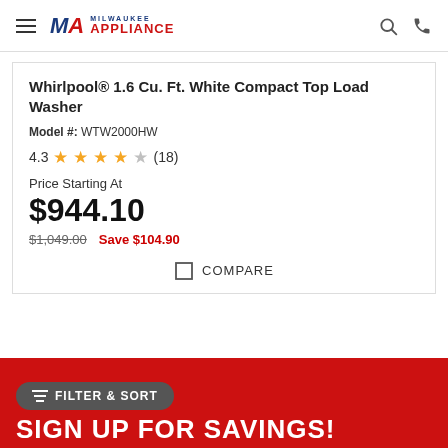Milwaukee Appliance
Whirlpool® 1.6 Cu. Ft. White Compact Top Load Washer
Model #: WTW2000HW
4.3 ★★★★☆ (18)
Price Starting At
$944.10
$1,049.00   Save $104.90
COMPARE
SIGN UP FOR SAVINGS!